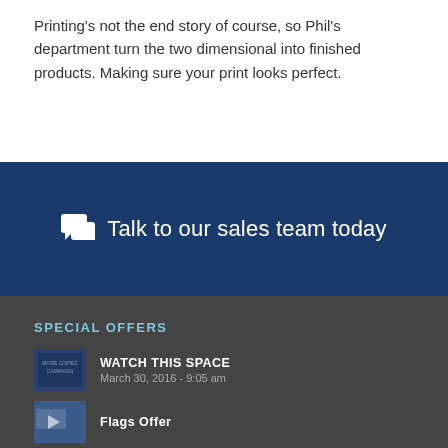Printing's not the end story of course, so Phil's department turn the two dimensional into finished products. Making sure your print looks perfect.
Talk to our sales team today
SPECIAL OFFERS
WATCH THIS SPACE
March 30, 2016 - 9:05 am
Flags Offer